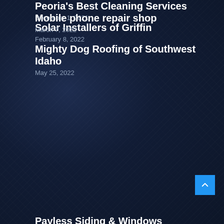Mobile phone repair shop
March 7, 2022
Peoria's Best Cleaning Services
December 1, 2021
Solar Installers of Griffin
February 8, 2022
Mighty Dog Roofing of Southwest Idaho
May 25, 2022
Payless Siding & Windows
June 22, 2022
The Original Frameless Shower Doors